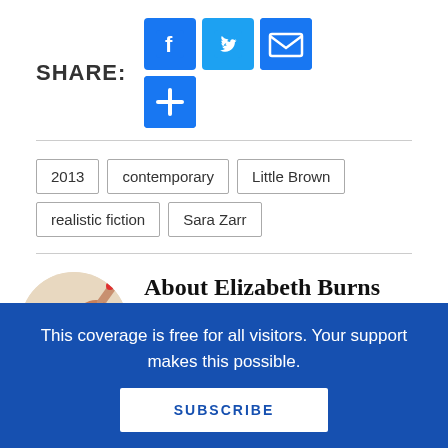SHARE:
[Figure (other): Social share buttons: Facebook (blue), Twitter (blue bird), Email (blue envelope), Plus/More (blue plus sign)]
2013
contemporary
Little Brown
realistic fiction
Sara Zarr
About Elizabeth Burns
[Figure (photo): Circular profile photo of Elizabeth Burns, a person lying on their side on the floor with red-tipped fingers visible above their head.]
Looking for a place to talk about young adult books? Pull up a chair, have a cup of tea, and let's chat. I
This coverage is free for all visitors. Your support makes this possible.
SUBSCRIBE